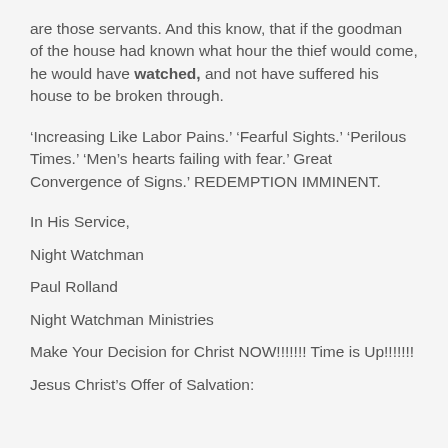are those servants. And this know, that if the goodman of the house had known what hour the thief would come, he would have watched, and not have suffered his house to be broken through.
‘Increasing Like Labor Pains.’ ‘Fearful Sights.’ ‘Perilous Times.’ ‘Men’s hearts failing with fear.’ Great Convergence of Signs.’ REDEMPTION IMMINENT.
In His Service,
Night Watchman
Paul Rolland
Night Watchman Ministries
Make Your Decision for Christ NOW!!!!!!! Time is Up!!!!!!!
Jesus Christ’s Offer of Salvation: